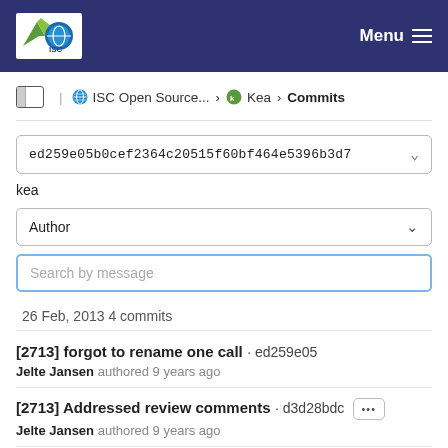ISC Open Source... > Kea > Commits | Menu
ed259e05b0cef2364c20515f60bf464e5396b3d7
kea
Author
Search by message
26 Feb, 2013 4 commits
[2713] forgot to rename one call · ed259e05
Jelte Jansen authored 9 years ago
[2713] Addressed review comments · d3d28bdc
Jelte Jansen authored 9 years ago